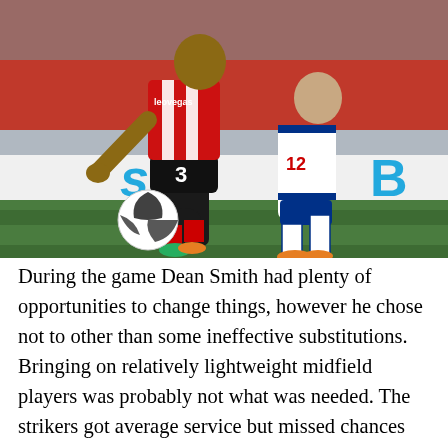[Figure (photo): Football match action photo showing two players competing for the ball. Player in red and white striped Brentford jersey (number 3) with black shorts dribbling with a football on green grass, challenged by player in blue and white kit (number 12). Sky Sports advertisement hoarding visible in background along with stadium seats and spectators.]
During the game Dean Smith had plenty of opportunities to change things, however he chose not to other than some ineffective substitutions. Bringing on relatively lightweight midfield players was probably not what was needed. The strikers got average service but missed chances again. So we arrive 22nd September with a very